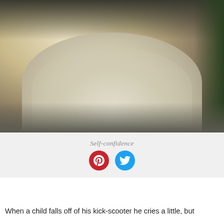[Figure (photo): Two young girls wearing fluffy white tutu dresses sitting together on pavement outdoors, barefoot, with green bushes in the background.]
Self-confidence
11 Overcoming setbacks!
When a child falls off of his kick-scooter he cries a little, but then gets up to dust himself up, gets back on the scooter and it